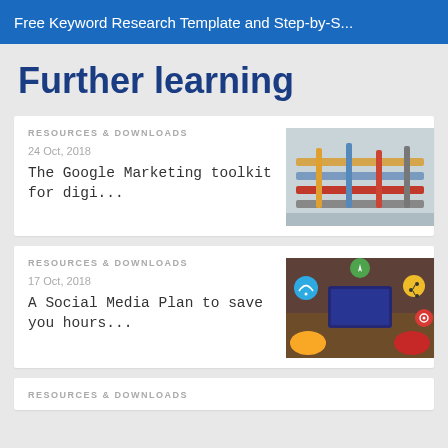Free Keyword Research Template and Step-by-S...
Further learning
RESOURCES & DOWNLOADS
24 Oct, 2018
The Google Marketing toolkit for digi...
[Figure (photo): Photo of tools/books laid out on a surface]
RESOURCES & DOWNLOADS
17 Oct, 2018
A Social Media Plan to save you hours...
[Figure (photo): Photo of people using laptops with social media icons overhead]
RESOURCES & DOWNLOADS